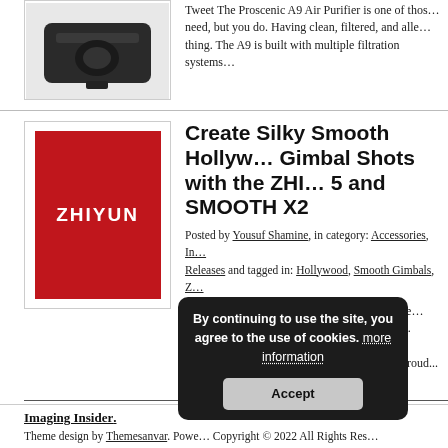[Figure (photo): Dark colored device (air purifier) partially visible at top]
Tweet The Proscenic A9 Air Purifier is one of those things that you don't think you need, but you do. Having clean, filtered, and allergen free air is a good thing. The A9 is built with multiple filtration systems…
Create Silky Smooth Hollywood Gimbal Shots with the ZHIYUN SMOOTH 5 and SMOOTH X2
[Figure (logo): ZHIYUN logo - white text on red background]
Posted by Yousuf Shamine, in category: Accessories, In category Releases and tagged in: Hollywood, Smooth Gimbals, Z…
Tweet Next-generation cameras on smartphones capture amazing video. Now, it's time to get a gimbal that can keep up. On November 15th, 2021 – ZHIYUN, the world leader in professional camera stabilization systems, is proud... Read more
« Older Entries
Imaging Insider. Theme design by Themesanvar. Powered by… Copyright © 2022 All Rights Reserved
By continuing to use the site, you agree to the use of cookies. more information Accept